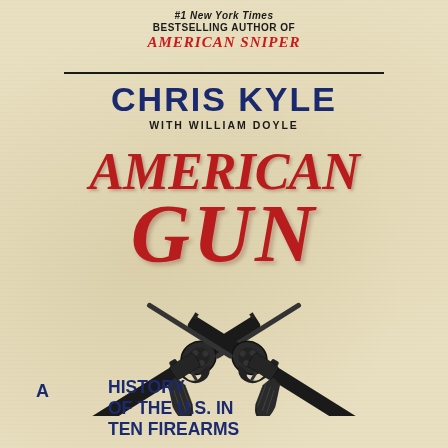#1 New York Times Bestselling Author of American Sniper
CHRIS KYLE
WITH WILLIAM DOYLE
AMERICAN GUN
[Figure (illustration): Two crossed revolvers (Colt Single Action Army style pistols) crossing barrels in the center, rendered in dark black tones against aged parchment background]
A History of the U.S. in Ten Firearms